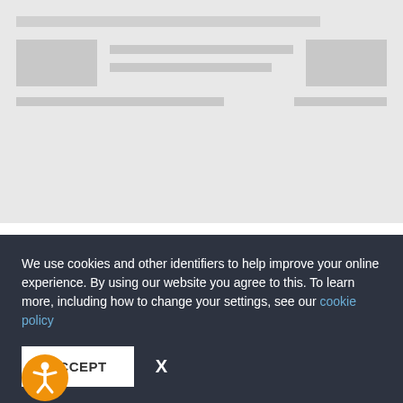[Figure (screenshot): Gray skeleton loading placeholder with image block, multiple text lines, and right-side content block]
In the News
04 October 2012
Honouring the Efforts of a Pakistani Youth Activist
We use cookies and other identifiers to help improve your online experience. By using our website you agree to this. To learn more, including how to change your settings, see our cookie policy
ACCEPT
X